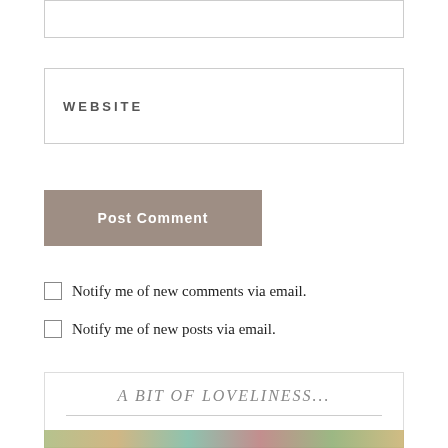WEBSITE
Post Comment
Notify me of new comments via email.
Notify me of new posts via email.
A BIT OF LOVELINESS...
[Figure (photo): Colorful image strip at the bottom of a blog comment form section]